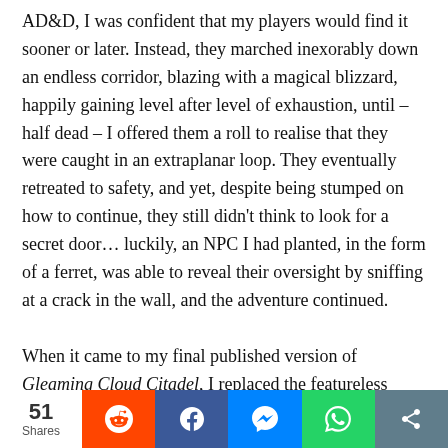AD&D, I was confident that my players would find it sooner or later. Instead, they marched inexorably down an endless corridor, blazing with a magical blizzard, happily gaining level after level of exhaustion, until – half dead – I offered them a roll to realise that they were caught in an extraplanar loop. They eventually retreated to safety, and yet, despite being stumped on how to continue, they still didn't think to look for a secret door… luckily, an NPC I had planted, in the form of a ferret, was able to reveal their oversight by sniffing at a crack in the wall, and the adventure continued.

When it came to my final published version of Gleaming Cloud Citadel, I replaced the featureless
51 Shares | Reddit | Facebook | Messenger | WhatsApp | Share